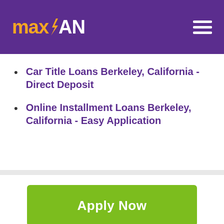maxLOAN
Car Title Loans Berkeley, California - Direct Deposit
Online Installment Loans Berkeley, California - Easy Application
Apply Now
Applying does NOT affect your credit score! No credit check to apply.